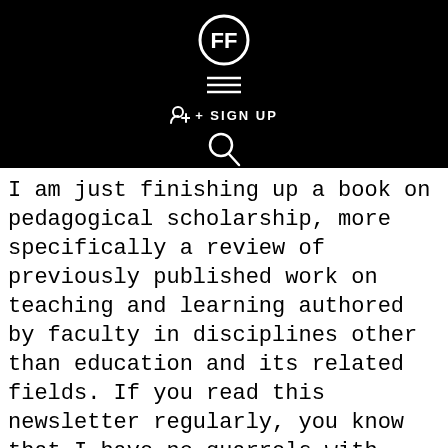[Figure (logo): White FF logo icon on black background, hamburger menu icon, sign up button with person icon, and search icon]
I am just finishing up a book on pedagogical scholarship, more specifically a review of previously published work on teaching and learning authored by faculty in disciplines other than education and its related fields. If you read this newsletter regularly, you know that I have no quarrels with folks in education. In fact they are the pros-the folks trained to study teaching and learning and advance of our knowledge of both. But this book is devoted to the the scholarship of practitioners-the work that is written by college teachers for college teachers. Up to this point, I don't think anybody has looked at it as a body